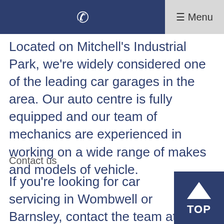☎ Menu
Located on Mitchell's Industrial Park, we're widely considered one of the leading car garages in the area. Our auto centre is fully equipped and our team of mechanics are experienced in working on a wide range of makes and models of vehicle.
Contact us
If you're looking for car servicing in Wombwell or Barnsley, contact the team at Wyatt Auto Services. You can reach us on 01226 979 087 or send us a message via our website. We'll get back to you as soon